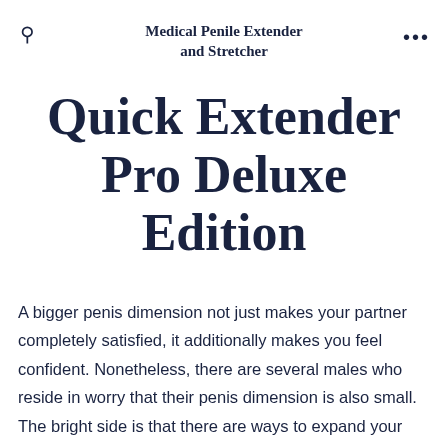Medical Penile Extender and Stretcher
Quick Extender Pro Deluxe Edition
A bigger penis dimension not just makes your partner completely satisfied, it additionally makes you feel confident. Nonetheless, there are several males who reside in worry that their penis dimension is also small. The bright side is that there are ways to expand your penis without making use of pills in a risk-free and also reliable means. Quick